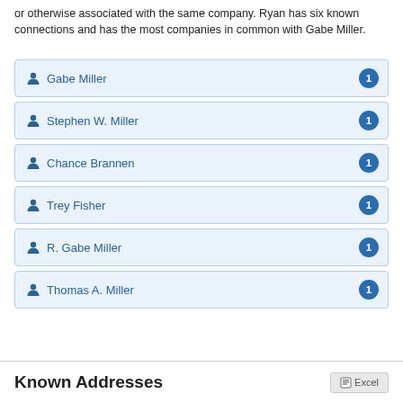or otherwise associated with the same company. Ryan has six known connections and has the most companies in common with Gabe Miller.
Gabe Miller — 1
Stephen W. Miller — 1
Chance Brannen — 1
Trey Fisher — 1
R. Gabe Miller — 1
Thomas A. Miller — 1
Known Addresses